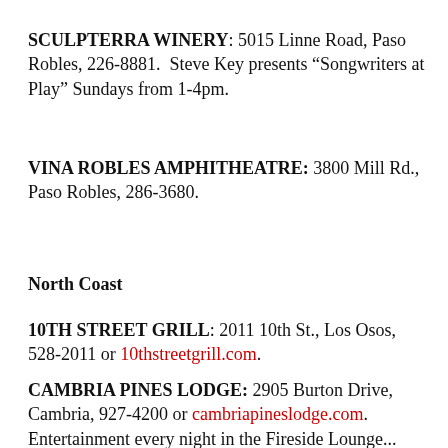SCULPTERRA WINERY: 5015 Linne Road, Paso Robles, 226-8881.  Steve Key presents “Songwriters at Play” Sundays from 1-4pm.
VINA ROBLES AMPHITHEATRE: 3800 Mill Rd., Paso Robles, 286-3680.
North Coast
10TH STREET GRILL: 2011 10th St., Los Osos, 528-2011 or 10thstreetgrill.com.
CAMBRIA PINES LODGE: 2905 Burton Drive, Cambria, 927-4200 or cambriapineslodge.com. Entertainment every night in the Fireside Lounge...